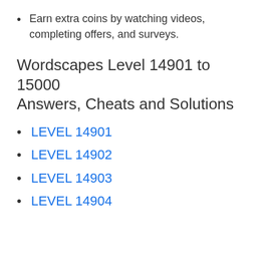Earn extra coins by watching videos, completing offers, and surveys.
Wordscapes Level 14901 to 15000 Answers, Cheats and Solutions
LEVEL 14901
LEVEL 14902
LEVEL 14903
LEVEL 14904